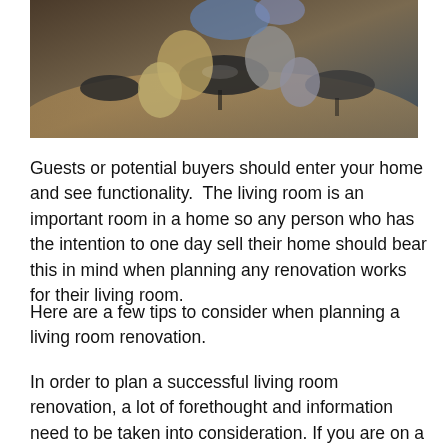[Figure (photo): Overhead view of a living room with modern furniture including chairs and round tables in grey and gold tones on a wooden floor.]
Guests or potential buyers should enter your home and see functionality.  The living room is an important room in a home so any person who has the intention to one day sell their home should bear this in mind when planning any renovation works for their living room.
Here are a few tips to consider when planning a living room renovation.
In order to plan a successful living room renovation, a lot of forethought and information need to be taken into consideration. If you are on a tight budget and you plan on making any structural changes, or your scope of work requires you to work with several